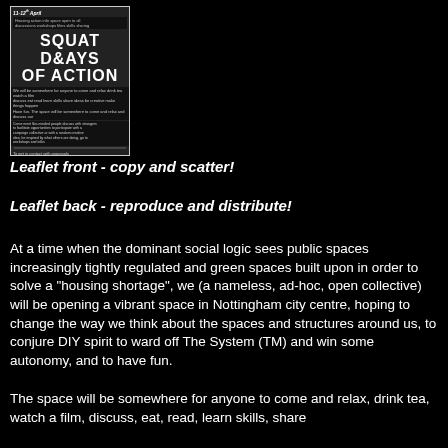[Figure (illustration): A black and white poster for 'Squat Days of Action', 11-12th April, with bold hand-lettered title text and images of buildings/squats.]
Leaflet front - copy and scatter!
Leaflet back - reproduce and distribute!
At a time when the dominant social logic sees public spaces increasingly tightly regulated and green spaces built upon in order to solve a "housing shortage", we (a nameless, ad-hoc, open collective) will be opening a vibrant space in Nottingham city centre, hoping to change the way we think about the spaces and structures around us, to conjure DIY spirit to ward off The System (TM) and win some autonomy, and to have fun.
The space will be somewhere for anyone to come and relax, drink tea, watch a film, discuss, eat, read, learn skills, share